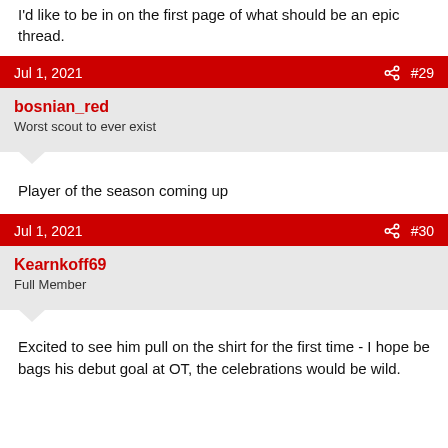I'd like to be in on the first page of what should be an epic thread.
Jul 1, 2021  #29
bosnian_red
Worst scout to ever exist
Player of the season coming up
Jul 1, 2021  #30
Kearnkoff69
Full Member
Excited to see him pull on the shirt for the first time - I hope be bags his debut goal at OT, the celebrations would be wild.